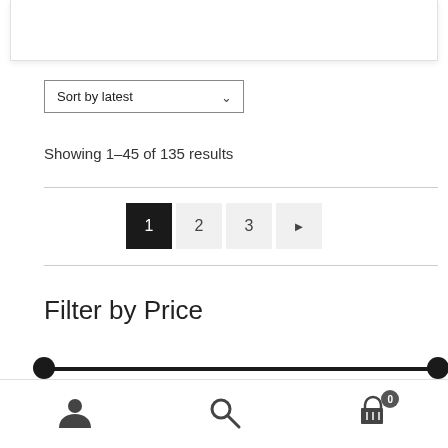[Figure (screenshot): Top portion of a product card partially visible at the top of the page]
Sort by latest
Showing 1–45 of 135 results
[Figure (other): Pagination controls showing pages 1 (active/black), 2, 3, and next arrow]
Filter by Price
[Figure (other): Price range slider with two handles at each end of a black track]
User icon, Search icon, Cart icon with badge 0